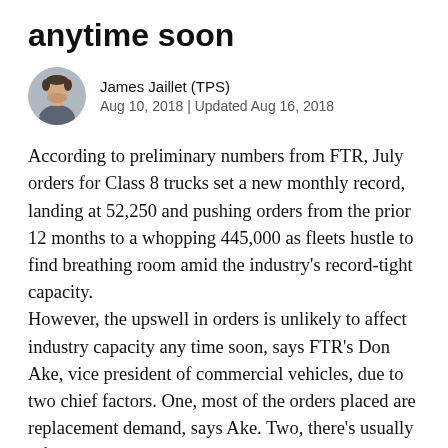anytime soon
James Jaillet (TPS)
Aug 10, 2018 | Updated Aug 16, 2018
According to preliminary numbers from FTR, July orders for Class 8 trucks set a new monthly record, landing at 52,250 and pushing orders from the prior 12 months to a whopping 445,000 as fleets hustle to find breathing room amid the industry's record-tight capacity.
However, the upswell in orders is unlikely to affect industry capacity any time soon, says FTR's Don Ake, vice president of commercial vehicles, due to two chief factors. One, most of the orders placed are replacement demand, says Ake. Two, there's usually a five- to 12-month lag between orders being placed and deliveries starting to materialize.